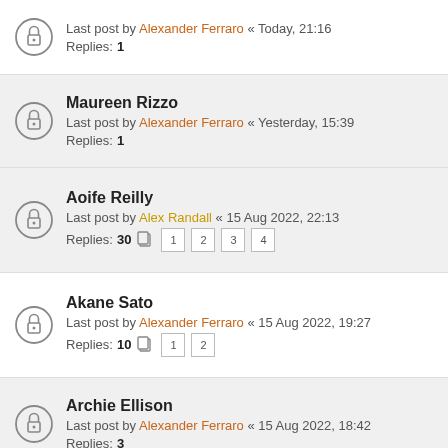Last post by Alexander Ferraro « Today, 21:16 | Replies: 1
Maureen Rizzo | Last post by Alexander Ferraro « Yesterday, 15:39 | Replies: 1
Aoife Reilly | Last post by Alex Randall « 15 Aug 2022, 22:13 | Replies: 30 [pages: 1 2 3 4]
Akane Sato | Last post by Alexander Ferraro « 15 Aug 2022, 19:27 | Replies: 10 [pages: 1 2]
Archie Ellison | Last post by Alexander Ferraro « 15 Aug 2022, 18:42 | Replies: 3
Charli Travell | Last post by Lyla Avery « 11 Aug 2022, 21:52 | Replies: 2
Jonathan Richards | Last post by Lyla Avery « 11 Aug 2022, 21:50